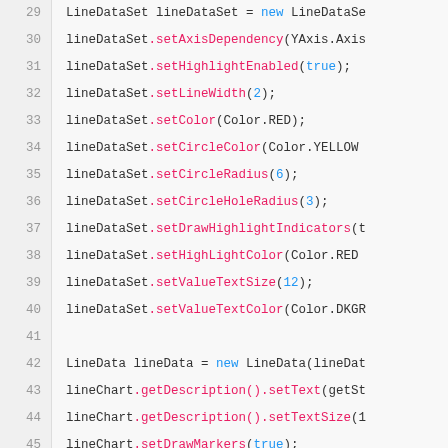[Figure (screenshot): Code snippet showing Java Android chart setup code, lines 29-53, with syntax highlighting. Line numbers in left gutter, code in monospace font with pink method names and blue keywords.]